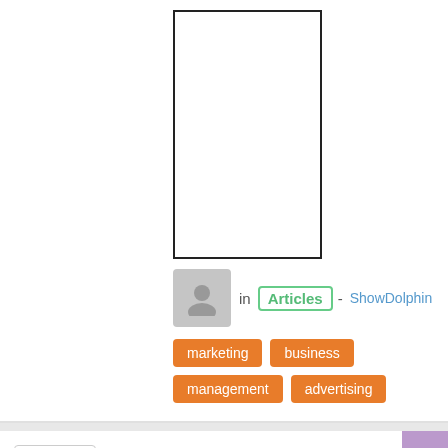[Figure (other): Outlined empty rectangular box placeholder]
[Figure (other): Grey user avatar placeholder icon]
in Articles - ShowDolphin
marketing
business
management
advertising
10 Ways To Ensure Your Flyer Avoids The Bin